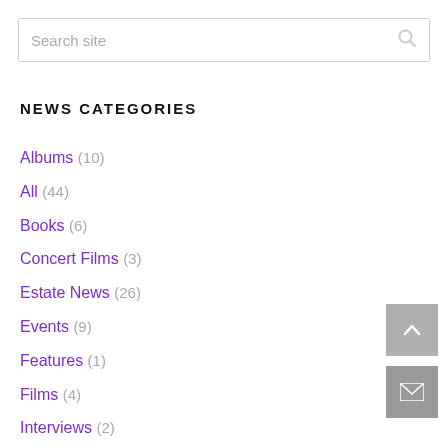[Figure (screenshot): Search box with placeholder text 'Search site' and a search icon on the right]
NEWS CATEGORIES
Albums (10)
All (44)
Books (6)
Concert Films (3)
Estate News (26)
Events (9)
Features (1)
Films (4)
Interviews (2)
Other (5)
Paisley Park (7)